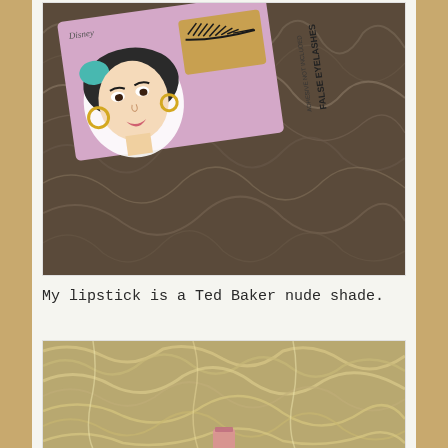[Figure (photo): A Disney Jasmine themed false eyelashes product box in pink/lavender color with an illustration of Jasmine on it, showing false eyelashes through a window, placed on a furry brown background. Text on box reads 'FALSE EYELASHES ADHESIVE NOT INCLUDED' and 'Disney'.]
My lipstick is a Ted Baker nude shade.
[Figure (photo): Close-up photo of blonde/highlighted hair against a blurred background, with what appears to be a pink lipstick partially visible at the bottom.]